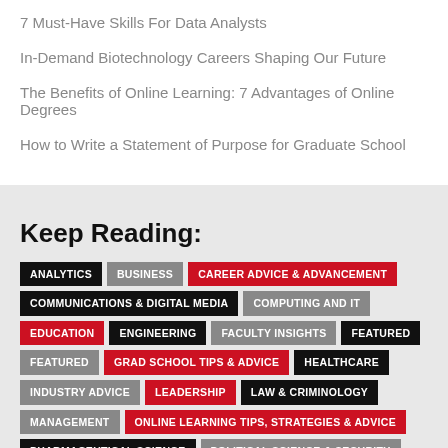7 Must-Have Skills For Data Analysts
In-Demand Biotechnology Careers Shaping Our Future
The Benefits of Online Learning: 7 Advantages of Online Degrees
How to Write a Statement of Purpose for Graduate School
Keep Reading:
ANALYTICS | BUSINESS | CAREER ADVICE & ADVANCEMENT | COMMUNICATIONS & DIGITAL MEDIA | COMPUTING AND IT | EDUCATION | ENGINEERING | FACULTY INSIGHTS | FEATURED | FEATURED | GRAD SCHOOL TIPS & ADVICE | HEALTHCARE | INDUSTRY ADVICE | LEADERSHIP | LAW & CRIMINOLOGY | MANAGEMENT | ONLINE LEARNING TIPS, STRATEGIES & ADVICE | PHARMACEUTICAL SCIENCE | POLITICAL SCIENCE & SECURITY | PUBLIC HEALTH & PUBLIC POLICY | REGULATORY AFFAIRS